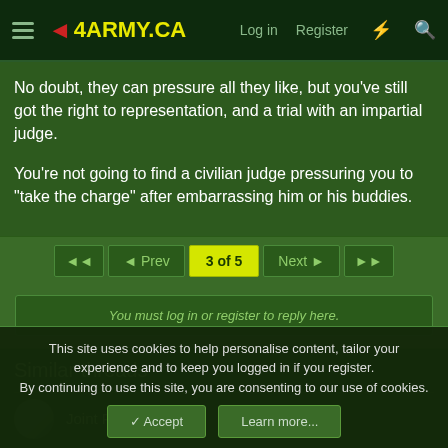4ARMY.CA — Log in   Register
No doubt, they can pressure all they like, but you've still got the right to representation, and a trial with an impartial judge.

You're not going to find a civilian judge pressuring you to "take the charge" after embarrassing him or his buddies.
◄◄  ◄ Prev  3 of 5  Next ►  ►►
You must log in or register to reply here.
Similar threads
Joint Force Arsenal
This site uses cookies to help personalise content, tailor your experience and to keep you logged in if you register.
By continuing to use this site, you are consenting to our use of cookies.
✓ Accept   Learn more...